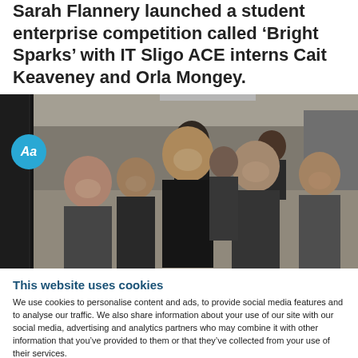Sarah Flannery launched a student enterprise competition called ‘Bright Sparks’ with IT Sligo ACE interns Cait Keaveney and Orla Mongey.
[Figure (photo): Group photo of several people smiling in an office or indoor event setting. An 'Aa' badge overlay appears in the lower-left of the image.]
This website uses cookies
We use cookies to personalise content and ads, to provide social media features and to analyse our traffic. We also share information about your use of our site with our social media, advertising and analytics partners who may combine it with other information that you’ve provided to them or that they’ve collected from your use of their services.
Use necessary cookies only
Allow all cookies
Show details